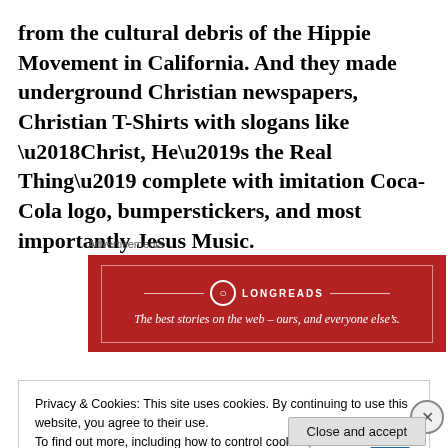from the cultural debris of the Hippie Movement in California. And they made underground Christian newspapers, Christian T-Shirts with slogans like ‘Christ, He’s the Real Thing’ complete with imitation Coca-Cola logo, bumperstickers, and most importantly Jesus Music.
Advertisements
[Figure (other): Longreads advertisement banner: red background with white border, Longreads logo and text 'The best stories on the web - ours, and everyone else's.']
Privacy & Cookies: This site uses cookies. By continuing to use this website, you agree to their use.
To find out more, including how to control cookies, see here: Cookie Policy
Close and accept